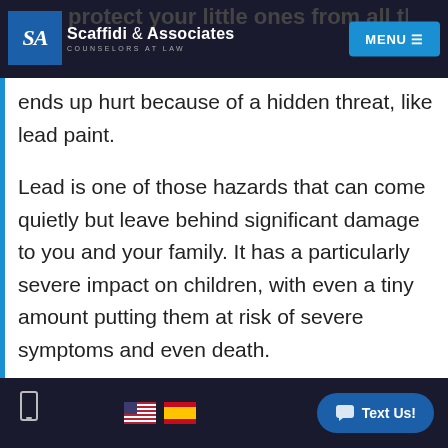[Figure (logo): Scaffidi & Associates Counselors at Law logo with blue SA monogram and MENU button on dark navigation bar]
protect your little ones from all the harm the world can throw at them. However, despite everyone's best efforts, sometimes a child ends up hurt because of a hidden threat, like lead paint.
Lead is one of those hazards that can come quietly but leave behind significant damage to you and your family. It has a particularly severe impact on children, with even a tiny amount putting them at risk of severe symptoms and even death.
[Figure (screenshot): Bottom navigation bar with phone icon, US and Spanish flags, and blue Text Us! button]